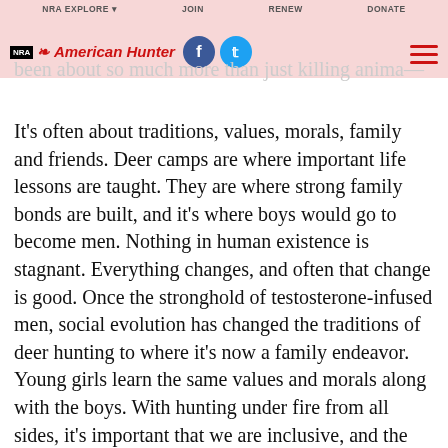NRA American Hunter — navigation with social icons
been about so much more than just killing anima...
It's often about traditions, values, morals, family and friends. Deer camps are where important life lessons are taught. They are where strong family bonds are built, and it's where boys would go to become men. Nothing in human existence is stagnant. Everything changes, and often that change is good. Once the stronghold of testosterone-infused men, social evolution has changed the traditions of deer hunting to where it's now a family endeavor. Young girls learn the same values and morals along with the boys. With hunting under fire from all sides, it's important that we are inclusive, and the relatively recent rise in women hunting is a good thing.

Hunting itself is changing, too. Dog hunting for deer
Hunting itself is changing, too. Dog hunting for deer